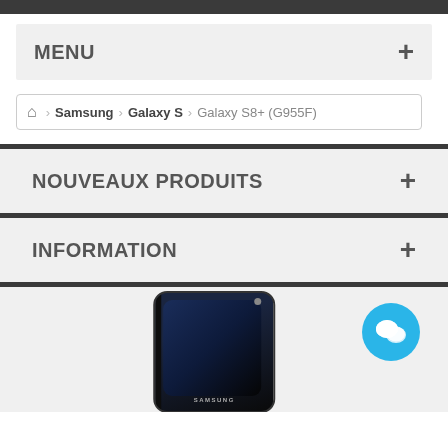MENU
Home > Samsung > Galaxy S > Galaxy S8+ (G955F)
NOUVEAUX PRODUITS
INFORMATION
[Figure (photo): Samsung Galaxy S8+ smartphone with dark blue/black color scheme and edge-to-edge display, shown with a live chat button (blue circle with speech bubble icons) in the bottom right corner]